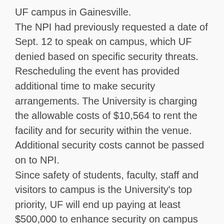UF campus in Gainesville. The NPI had previously requested a date of Sept. 12 to speak on campus, which UF denied based on specific security threats. Rescheduling the event has provided additional time to make security arrangements. The University is charging the allowable costs of $10,564 to rent the facility and for security within the venue. Additional security costs cannot be passed on to NPI. Since safety of students, faculty, staff and visitors to campus is the University's top priority, UF will end up paying at least $500,000 to enhance security on campus and in the city of Gainesville. This includes costs from the University of Florida Police Department, Gainesville Police Department,